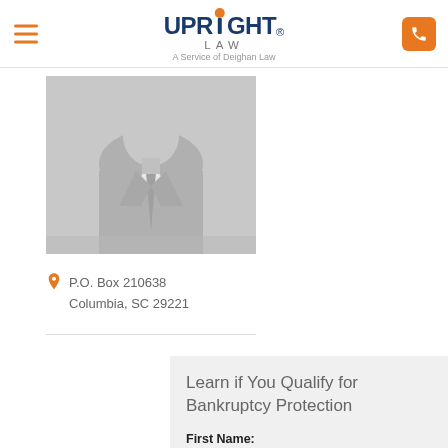UpRight Law — A Service of Deighan Law
[Figure (photo): Placeholder silhouette of a person in a suit with tie, gray background]
P.O. Box 210638
Columbia, SC 29221
Learn if You Qualify for Bankruptcy Protection
First Name: